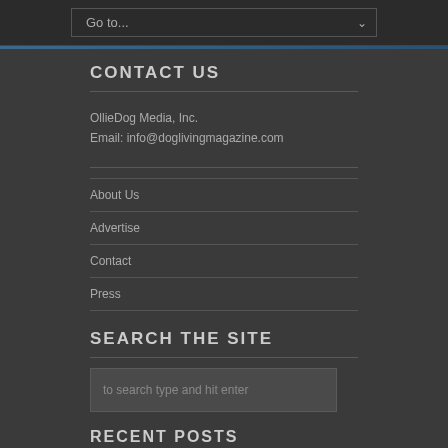Go to...
CONTACT US
OllieDog Media, Inc.
Email: info@doglivingmagazine.com
About Us
Advertise
Contact
Press
SEARCH THE SITE
to search type and hit enter
RECENT POSTS